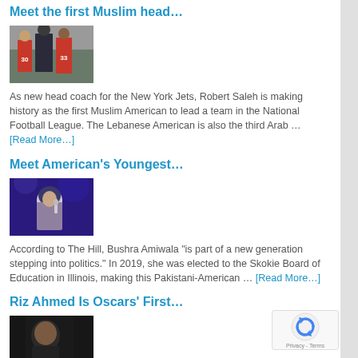Meet the first Muslim head…
[Figure (photo): Football players in red and grey uniforms with jersey numbers 30 and 33, with a coach in dark jacket on the sideline.]
As new head coach for the New York Jets, Robert Saleh is making history as the first Muslim American to lead a team in the National Football League. The Lebanese American is also the third Arab … [Read More…]
Meet American's Youngest…
[Figure (photo): A woman wearing a hijab standing on a stage with microphone, blue/purple background with stage lights.]
According to The Hill, Bushra Amiwala "is part of a new generation stepping into politics." In 2019, she was elected to the Skokie Board of Education in Illinois, making this Pakistani-American … [Read More…]
Riz Ahmed Is Oscars' First…
[Figure (photo): Close-up profile of a man's face in dark/cinematic lighting.]